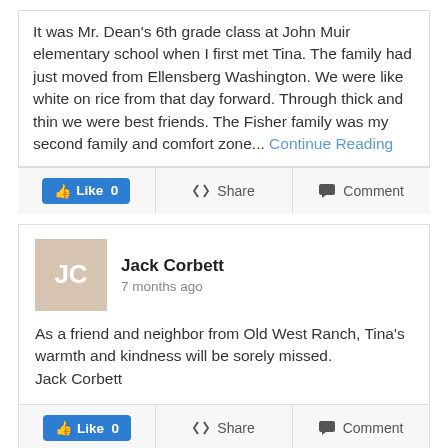It was Mr. Dean's 6th grade class at John Muir elementary school when I first met Tina. The family had just moved from Ellensberg Washington. We were like white on rice from that day forward. Through thick and thin we were best friends. The Fisher family was my second family and comfort zone... Continue Reading
Jack Corbett
7 months ago
As a friend and neighbor from Old West Ranch, Tina's warmth and kindness will be sorely missed.
Jack Corbett
Chris Dodd
7 months ago